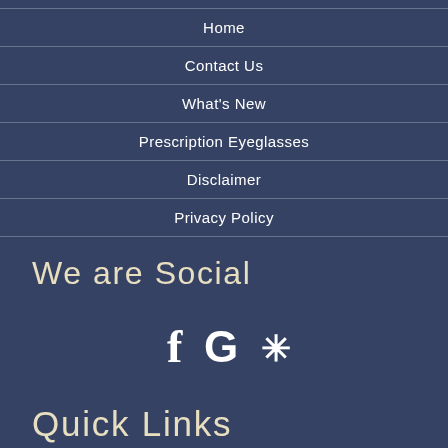Home
Contact Us
What's New
Prescription Eyeglasses
Disclaimer
Privacy Policy
We are Social
[Figure (infographic): Three social media icons: Facebook (f), Google (G), and Yelp (asterisk/star symbol)]
Quick Links